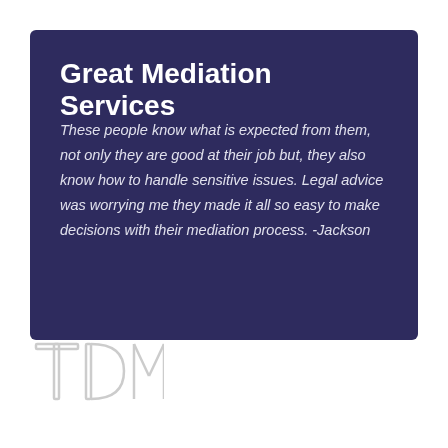Great Mediation Services
These people know what is expected from them, not only they are good at their job but, they also know how to handle sensitive issues. Legal advice was worrying me they made it all so easy to make decisions with their mediation process. -Jackson
[Figure (logo): TDM initials logo in light gray outline style at bottom left]